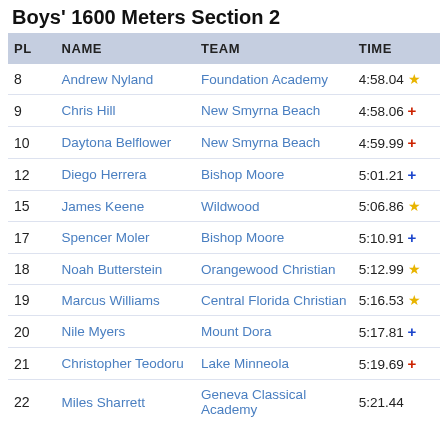Boys' 1600 Meters Section 2
| PL | NAME | TEAM | TIME |
| --- | --- | --- | --- |
| 8 | Andrew Nyland | Foundation Academy | 4:58.04 ★ |
| 9 | Chris Hill | New Smyrna Beach | 4:58.06 + |
| 10 | Daytona Belflower | New Smyrna Beach | 4:59.99 + |
| 12 | Diego Herrera | Bishop Moore | 5:01.21 + |
| 15 | James Keene | Wildwood | 5:06.86 ★ |
| 17 | Spencer Moler | Bishop Moore | 5:10.91 + |
| 18 | Noah Butterstein | Orangewood Christian | 5:12.99 ★ |
| 19 | Marcus Williams | Central Florida Christian | 5:16.53 ★ |
| 20 | Nile Myers | Mount Dora | 5:17.81 + |
| 21 | Christopher Teodoru | Lake Minneola | 5:19.69 + |
| 22 | Miles Sharrett | Geneva Classical Academy | 5:21.44 |